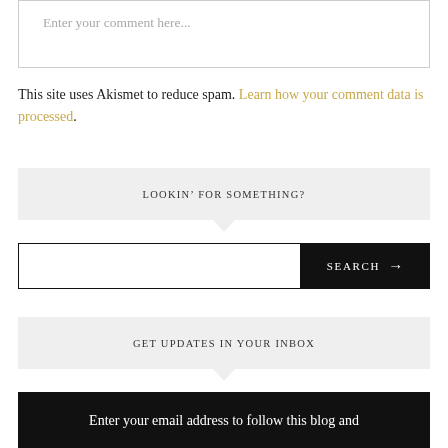Enter your comment here...
This site uses Akismet to reduce spam. Learn how your comment data is processed.
LOOKIN' FOR SOMETHING?
[Figure (other): Search bar with text input field and black SEARCH button with arrow]
GET UPDATES IN YOUR INBOX
Enter your email address to follow this blog and